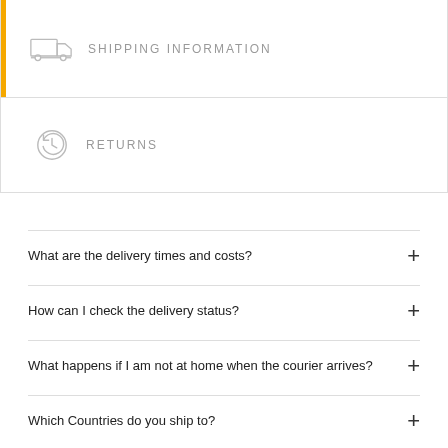SHIPPING INFORMATION
RETURNS
What are the delivery times and costs?
How can I check the delivery status?
What happens if I am not at home when the courier arrives?
Which Countries do you ship to?